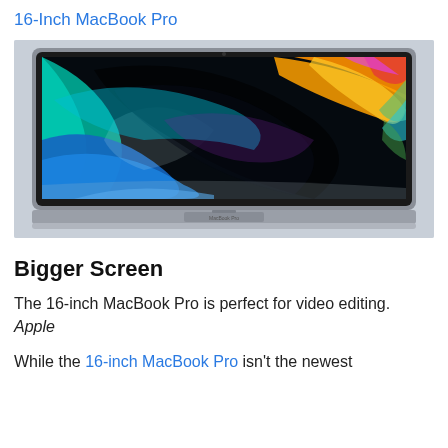16-Inch MacBook Pro
[Figure (photo): Photo of a 16-inch MacBook Pro laptop open, showing a colorful abstract wallpaper with teal, blue, orange, and green swirls on the display. The laptop body is silver/space gray.]
Bigger Screen
The 16-inch MacBook Pro is perfect for video editing. Apple
While the 16-inch MacBook Pro isn't the newest